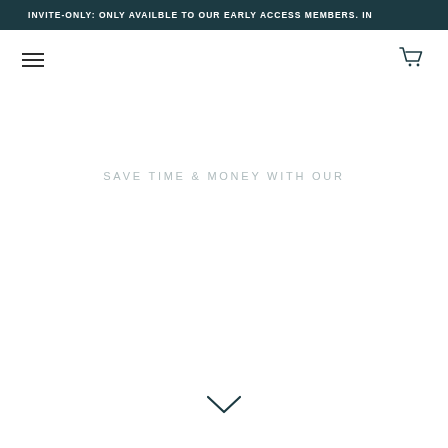INVITE-ONLY: ONLY AVAILBLE TO OUR EARLY ACCESS MEMBERS. IN
[Figure (infographic): Hamburger menu icon (three horizontal lines) on the left side of the navigation bar]
[Figure (infographic): Shopping cart icon on the right side of the navigation bar]
SAVE TIME & MONEY WITH OUR
[Figure (infographic): Chevron/arrow pointing downward, centered at the bottom of the page]